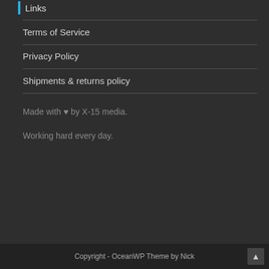Links
Terms of Service
Privacy Policy
Shipments & returns policy
Made with ♥ by X-15 media.
Working hard every day.
Copyright - OceanWP Theme by Nick